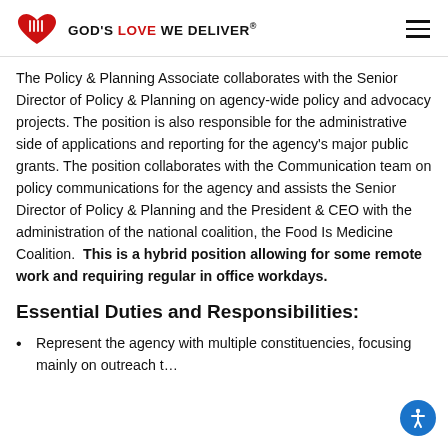GOD'S LOVE WE DELIVER.
The Policy & Planning Associate collaborates with the Senior Director of Policy & Planning on agency-wide policy and advocacy projects. The position is also responsible for the administrative side of applications and reporting for the agency's major public grants. The position collaborates with the Communication team on policy communications for the agency and assists the Senior Director of Policy & Planning and the President & CEO with the administration of the national coalition, the Food Is Medicine Coalition.  This is a hybrid position allowing for some remote work and requiring regular in office workdays.
Essential Duties and Responsibilities:
Represent the agency with multiple constituencies, focusing mainly on outreach t…